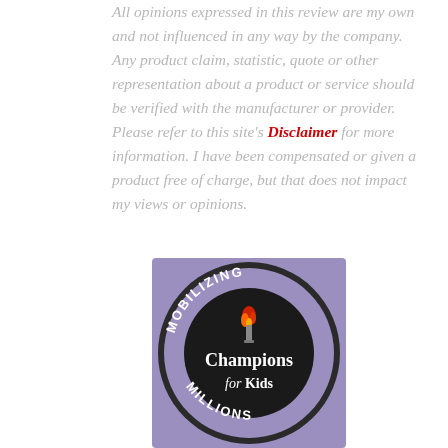All opinions expressed in this review are my own and not influenced in any way by the company. Any product claim, statistic, quote or other representation about a product or service should be verified with the manufacturer or provider. Please refer to this site's Disclaimer for more information. I have been compensated or given a product free of charge, but that does not impact my views or opinions.
[Figure (logo): Champions for Kids logo - circular badge with purple background, black circle, white text reading 'Champions for Kids' with a torch icon, and outer text reading 'MOBILIZING MILLIONS']